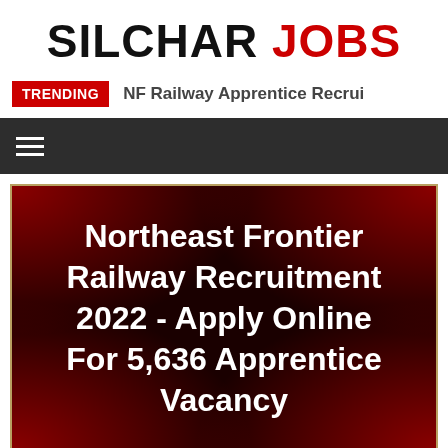SILCHAR JOBS
TRENDING  NF Railway Apprentice Recrui
[Figure (screenshot): Dark navigation bar with hamburger menu icon (three horizontal white lines) on dark gray background]
[Figure (illustration): Recruitment poster with dark/black background and red corner decorations, gold border, white bold text reading: Northeast Frontier Railway Recruitment 2022 - Apply Online For 5,636 Apprentice Vacancy]